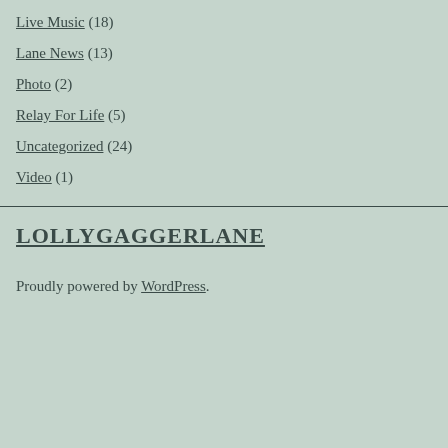Live Music (18)
Lane News (13)
Photo (2)
Relay For Life (5)
Uncategorized (24)
Video (1)
LOLLYGAGGERLANE
Proudly powered by WordPress.